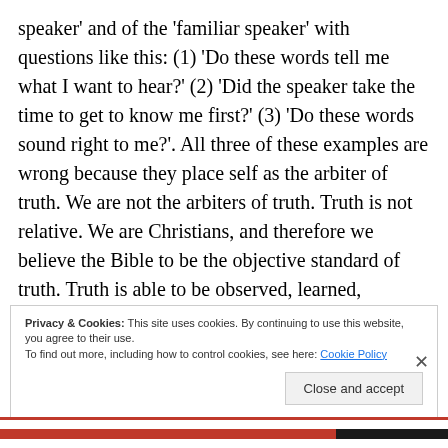speaker' and of the 'familiar speaker' with questions like this: (1) 'Do these words tell me what I want to hear?' (2) 'Did the speaker take the time to get to know me first?' (3) 'Do these words sound right to me?'. All three of these examples are wrong because they place self as the arbiter of truth. We are not the arbiters of truth. Truth is not relative. We are Christians, and therefore we believe the Bible to be the objective standard of truth. Truth is able to be observed, learned, measured, and acted upon. The Holy Scriptures,
Privacy & Cookies: This site uses cookies. By continuing to use this website, you agree to their use.
To find out more, including how to control cookies, see here: Cookie Policy